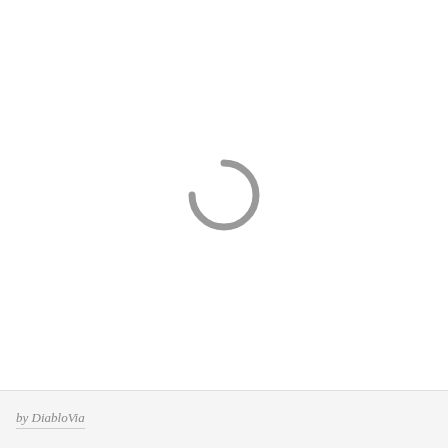[Figure (other): Loading spinner — a partial circle arc (approximately 270-degree arc) in gray, centered in the upper portion of the page, indicating a loading state]
by DiabloVia